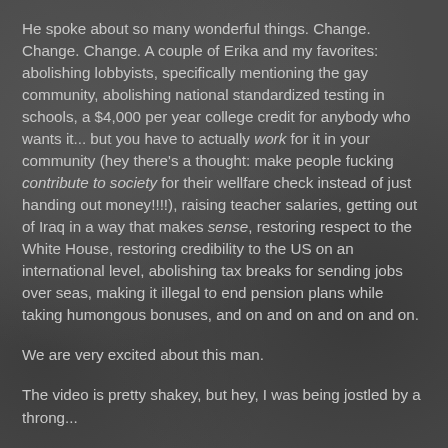He spoke about so many wonderful things. Change. Change. Change. A couple of Erika and my favorites: abolishing lobbyists, specifically mentioning the gay community, abolishing national standardized testing in schools, a $4,000 per year college credit for anybody who wants it... but you have to actually work for it in your community (hey there's a thought: make people fucking contribute to society for their wellfare check instead of just handing out money!!!!), raising teacher salaries, getting out of Iraq in a way that makes sense, restoring respect to the White House, restoring credibility to the US on an international level, abolishing tax breaks for sending jobs over seas, making it illegal to end pension plans while taking humongous bonuses, and on and on and on and on.
We are very excited about this man.
The video is pretty shakey, but hey, I was being jostled by a throng...